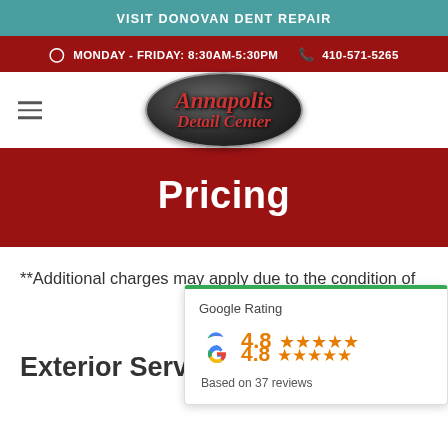VISIT DONOVAN DENT REPAIR
MONDAY - FRIDAY: 8:30AM-5:30PM   410-571-5265
[Figure (logo): Annapolis Detail Center oval logo with dark background and red italic script text]
Pricing
**Additional charges may apply due to the condition of the vehicle**
[Figure (infographic): Google Rating widget showing 4.8 stars based on 37 reviews]
Exterior Services